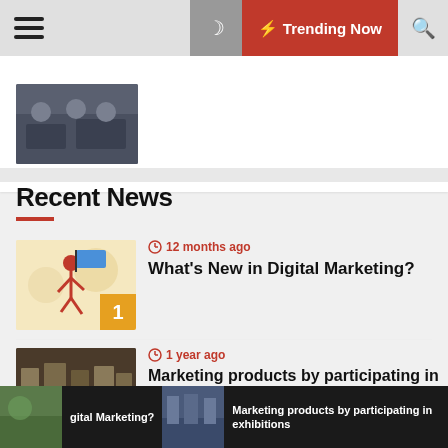Navigation bar with hamburger menu, moon icon, Trending Now button, and search icon
[Figure (photo): Partial top article card with a small photo of people at a table]
Recent News
[Figure (photo): Digital marketing illustration with a running figure and number 1 badge]
12 months ago
What's New in Digital Marketing?
[Figure (photo): Exhibition/trade show crowd photo with number 2 badge]
1 year ago
Marketing products by participating in exhibitions
[Figure (photo): Partial third article image (green/outdoor)]
gital Marketing?  |  Marketing products by participating in exhibitions  (bottom ticker bar)